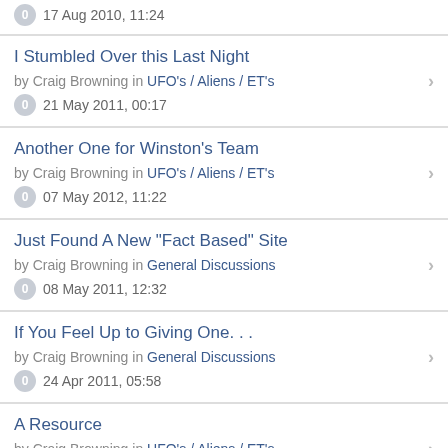17 Aug 2010, 11:24
I Stumbled Over this Last Night
by Craig Browning in UFO's / Aliens / ET's
0 21 May 2011, 00:17
Another One for Winston's Team
by Craig Browning in UFO's / Aliens / ET's
0 07 May 2012, 11:22
Just Found A New "Fact Based" Site
by Craig Browning in General Discussions
0 08 May 2011, 12:32
If You Feel Up to Giving One. . .
by Craig Browning in General Discussions
0 24 Apr 2011, 05:58
A Resource
by Craig Browning in UFO's / Aliens / ET's
0 17 Nov 2011, 23:19